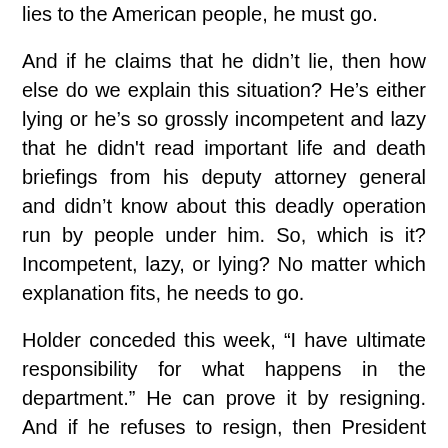lies to the American people, he must go.
And if he claims that he didn’t lie, then how else do we explain this situation? He’s either lying or he’s so grossly incompetent and lazy that he didn't read important life and death briefings from his deputy attorney general and didn’t know about this deadly operation run by people under him. So, which is it? Incompetent, lazy, or lying? No matter which explanation fits, he needs to go.
Holder conceded this week, “I have ultimate responsibility for what happens in the department.” He can prove it by resigning. And if he refuses to resign, then President Obama – with whom the